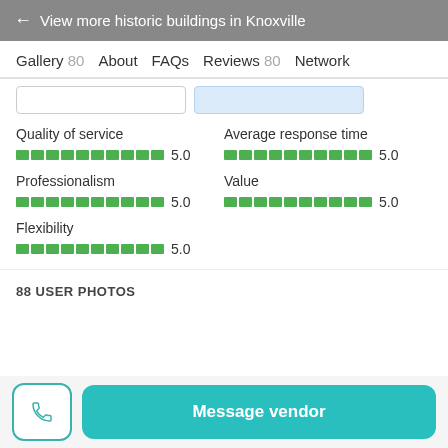← View more historic buildings in Knoxville
Gallery 80   About   FAQs   Reviews 80   Network
Quality of service 5.0
Average response time 5.0
Professionalism 5.0
Value 5.0
Flexibility 5.0
88 USER PHOTOS
Message vendor